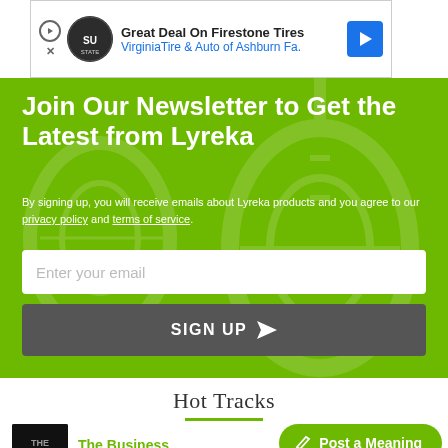[Figure (screenshot): Advertisement banner for Virginia Tire & Auto of Ashburn Fa. for Great Deal On Firestone Tires]
Join Our Newsletter to Get the Latest from Lyreka
By signing up, you will receive emails about Lyreka products and you agree to our privacy policy and terms of service.
Enter your email
SIGN UP
Hot Tracks
The Business by Tiësto
Lemon Pepper Freestyle